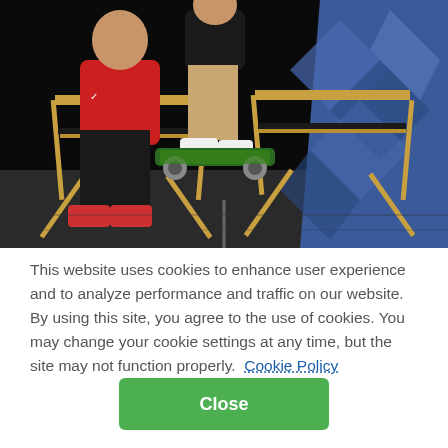[Figure (photo): A person performing a skateboard trick mid-air on a dark stage. Other people are seated in wooden director's chairs. A blue geometric backdrop is visible on the right side.]
This website uses cookies to enhance user experience and to analyze performance and traffic on our website. By using this site, you agree to the use of cookies. You may change your cookie settings at any time, but the site may not function properly.  Cookie Policy